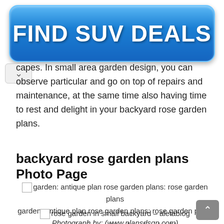[Figure (other): Blue gradient button advertisement reading FIND SUV DEALS in large bold white text]
capes. In small area garden design, you can observe particular and go on top of repairs and maintenance, at the same time also having time to rest and delight in your backyard rose garden plans.
backyard rose garden plans Photo Page
garden: antique plan rose garden plans: rose garden plans
garden: antique plan rose garden plans: rose garden plans
Photograph by: (www.plansdsgn.com)
rose garden in small backyard – aletablog
rose garden in small backyard – aletablog
Photograph by: (i2.wp.com)